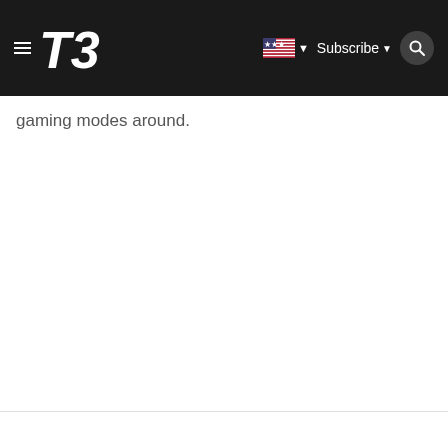T3 — Subscribe
gaming modes around.